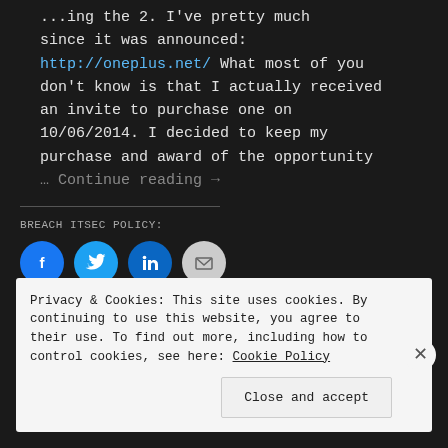...ing the 2. I've pretty much since it was announced: http://oneplus.net/ What most of you don't know is that I actually received an invite to purchase one on 10/06/2014. I decided to keep my purchase and award of the opportunity … Continue reading →
BREACH ITSEC POLICY:
[Figure (infographic): Social share buttons: Facebook (blue circle), Twitter (light blue circle), LinkedIn (dark blue circle), Email (gray circle)]
Privacy & Cookies: This site uses cookies. By continuing to use this website, you agree to their use. To find out more, including how to control cookies, see here: Cookie Policy
Close and accept